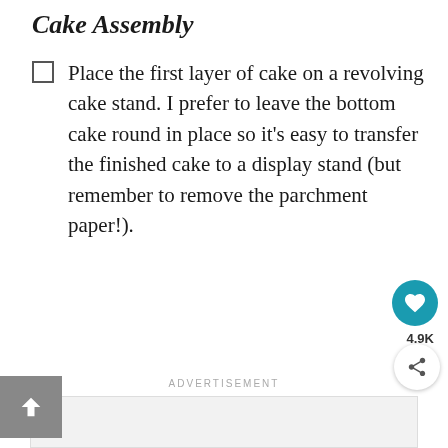Cake Assembly
Place the first layer of cake on a revolving cake stand. I prefer to leave the bottom cake round in place so it's easy to transfer the finished cake to a display stand (but remember to remove the parchment paper!).
ADVERTISEMENT